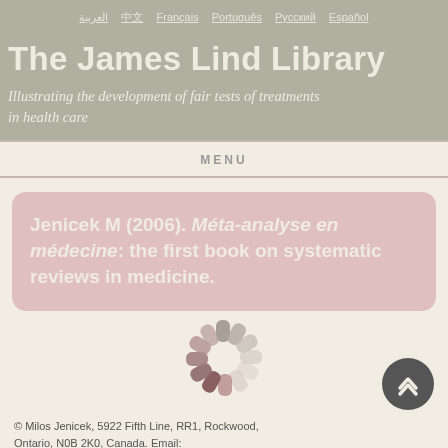العربية | 中文 | Français | Português | Русский | Español
The James Lind Library
Illustrating the development of fair tests of treatments in health care
MENU
Jenicek M (2006). Méta-analyse en médecine: the first book on systematic reviews in medicine.
© Milos Jenicek, 5922 Fifth Line, RR1, Rockwood, Ontario, N0B 2K0, Canada. Email: jenicekm@mcmaster.ca